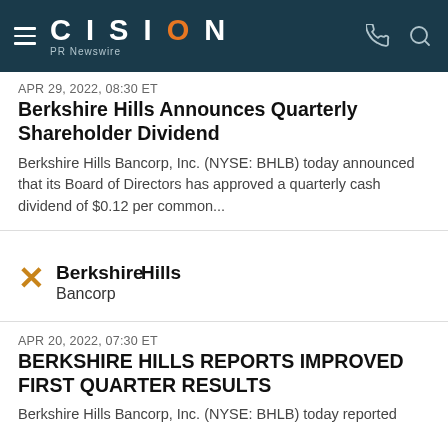CISION PR Newswire
APR 29, 2022, 08:30 ET
Berkshire Hills Announces Quarterly Shareholder Dividend
Berkshire Hills Bancorp, Inc. (NYSE: BHLB) today announced that its Board of Directors has approved a quarterly cash dividend of $0.12 per common...
[Figure (logo): Berkshire Hills Bancorp logo with star/cross icon in amber/gold color]
APR 20, 2022, 07:30 ET
BERKSHIRE HILLS REPORTS IMPROVED FIRST QUARTER RESULTS
Berkshire Hills Bancorp, Inc. (NYSE: BHLB) today reported